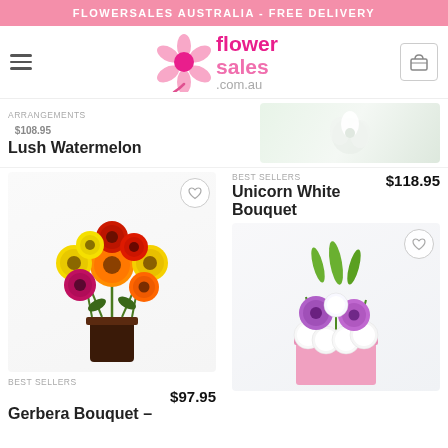FLOWERSALES AUSTRALIA - FREE DELIVERY
[Figure (logo): Flower Sales .com.au logo with pink flower icon and pink text]
ARRANGEMENTS  $108.95
Lush Watermelon
BEST SELLERS  $118.95
Unicorn White Bouquet
[Figure (photo): Bouquet of colourful gerbera daisies (orange, red, yellow, pink) in a dark glass vase]
[Figure (photo): White flower arrangement with purple gerberas and lilies in a pink box]
BEST SELLERS  $97.95
Gerbera Bouquet –